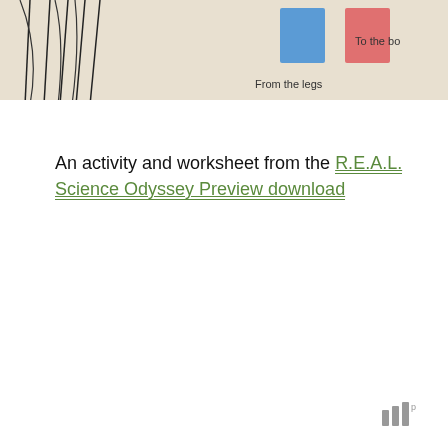[Figure (photo): Partial photo of a biology/anatomy worksheet or textbook showing a diagram with hands/arms, colored blocks (blue and pink), and text labels including 'From the legs' and 'To the bo[dy]']
An activity and worksheet from the R.E.A.L. Science Odyssey Preview download
[Figure (logo): Small grey logo in the bottom right corner resembling stacked bars with a superscript 'p']